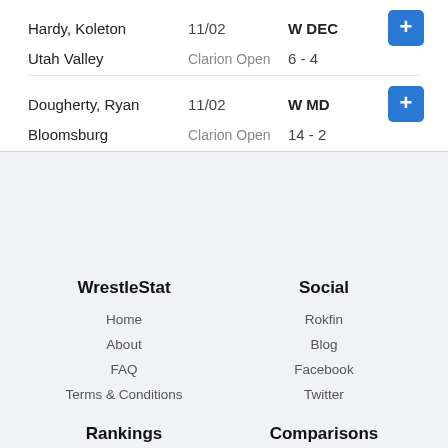| Wrestler | Date | Result | Action |
| --- | --- | --- | --- |
| Hardy, Koleton | 11/02 | W DEC | + |
| Utah Valley | Clarion Open | 6 - 4 |  |
| Dougherty, Ryan | 11/02 | W MD | + |
| Bloomsburg | Clarion Open | 14 - 2 |  |
WrestleStat
Home
About
FAQ
Terms & Conditions
Social
Rokfin
Blog
Facebook
Twitter
Rankings
Wrestler Rankings
Comparisons
Dual Comparison